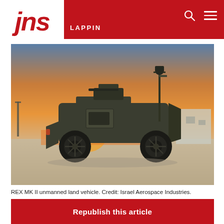jns LAPPIN
[Figure (photo): REX MK II unmanned land vehicle photographed at sunset in a desert environment. The vehicle is a dark olive green armored robotic ground vehicle with four large off-road tires, a turret on top, and a tall antenna mast. The background shows an orange sunset sky.]
REX MK II unmanned land vehicle. Credit: Israel Aerospace Industries.
Republish this article